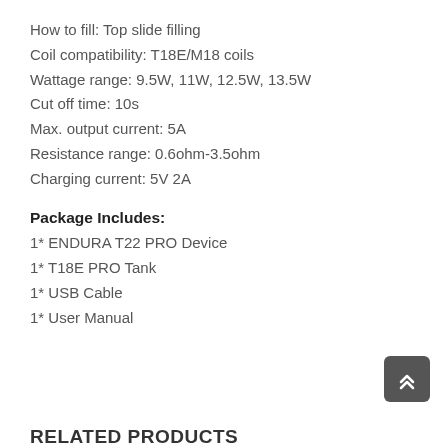How to fill: Top slide filling
Coil compatibility: T18E/M18 coils
Wattage range: 9.5W, 11W, 12.5W, 13.5W
Cut off time: 10s
Max. output current: 5A
Resistance range: 0.6ohm-3.5ohm
Charging current: 5V 2A
Package Includes:
1* ENDURA T22 PRO Device
1* T18E PRO Tank
1* USB Cable
1* User Manual
RELATED PRODUCTS